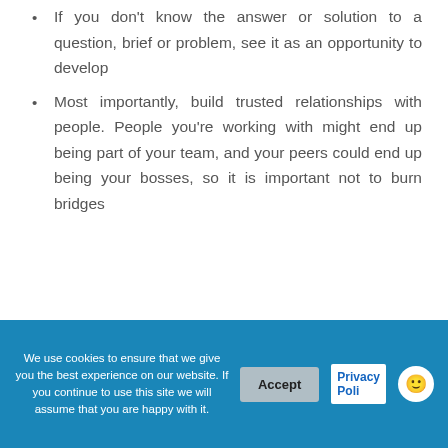If you don't know the answer or solution to a question, brief or problem, see it as an opportunity to develop
Most importantly, build trusted relationships with people. People you're working with might end up being part of your team, and your peers could end up being your bosses, so it is important not to burn bridges
Do you believe there
We use cookies to ensure that we give you the best experience on our website. If you continue to use this site we will assume that you are happy with it.